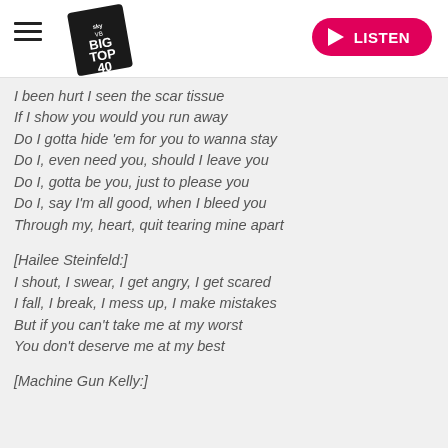[Figure (logo): Big Top 40 logo with hamburger menu and LISTEN button]
I been hurt I seen the scar tissue
If I show you would you run away
Do I gotta hide 'em for you to wanna stay
Do I, even need you, should I leave you
Do I, gotta be you, just to please you
Do I, say I'm all good, when I bleed you
Through my, heart, quit tearing mine apart
[Hailee Steinfeld:]
I shout, I swear, I get angry, I get scared
I fall, I break, I mess up, I make mistakes
But if you can't take me at my worst
You don't deserve me at my best
[Machine Gun Kelly:]